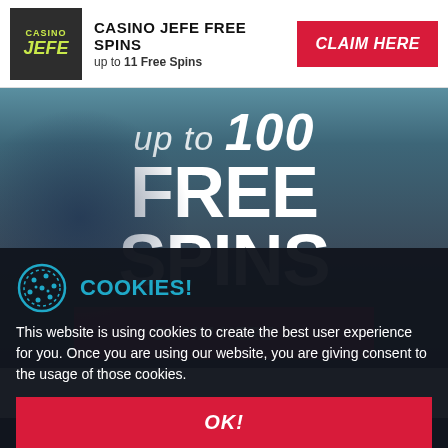CASINO JEFE FREE SPINS | up to 11 Free Spins | CLAIM HERE
[Figure (screenshot): Casino Jefe promotional banner showing 'up to 100 FREE SPINS' text on a dark blue-grey background with a CLAIM HERE button]
COOKIES!
This website is using cookies to create the best user experience for you. Once you are using our website, you are giving consent to the usage of those cookies.
OK!